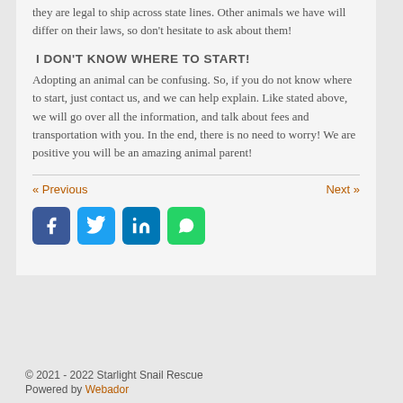they are legal to ship across state lines. Other animals we have will differ on their laws, so don't hesitate to ask about them!
I DON'T KNOW WHERE TO START!
Adopting an animal can be confusing. So, if you do not know where to start, just contact us, and we can help explain. Like stated above, we will go over all the information, and talk about fees and transportation with you. In the end, there is no need to worry! We are positive you will be an amazing animal parent!
« Previous    Next »
[Figure (other): Social media share buttons: Facebook, Twitter, LinkedIn, WhatsApp]
© 2021 - 2022 Starlight Snail Rescue
Powered by Webador